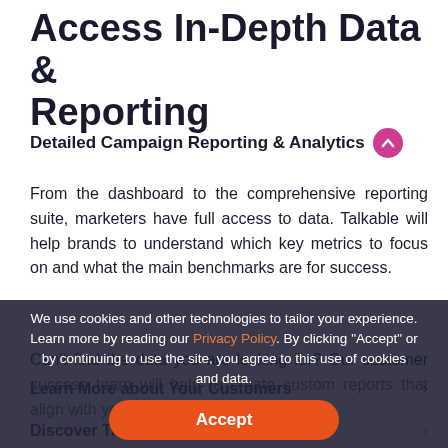Access In-Depth Data & Reporting
Detailed Campaign Reporting & Analytics
From the dashboard to the comprehensive reporting suite, marketers have full access to data. Talkable will help brands to understand which key metrics to focus on and what the main benchmarks are for success.
Can't find the data you are looking for? Our customer success team will help to create custom reports that align with your growth goals.
We use cookies and other technologies to tailor your experience. Learn more by reading our Privacy Policy. By clicking “Accept” or by continuing to use the site, you agree to this use of cookies and data.
Learn More about Your Customers
Discover Trends